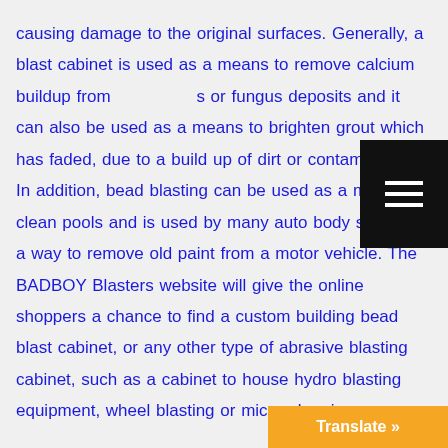causing damage to the original surfaces. Generally, a blast cabinet is used as a means to remove calcium buildup from surfaces or fungus deposits and it can also be used as a means to brighten grout which has faded, due to a build up of dirt or contaminants. In addition, bead blasting can be used as a means to clean pools and is used by many auto body shops as a way to remove old paint from a motor vehicle. The BADBOY Blasters website will give the online shoppers a chance to find a custom building bead blast cabinet, or any other type of abrasive blasting cabinet, such as a cabinet to house hydro blasting equipment, wheel blasting or micro-abrasive